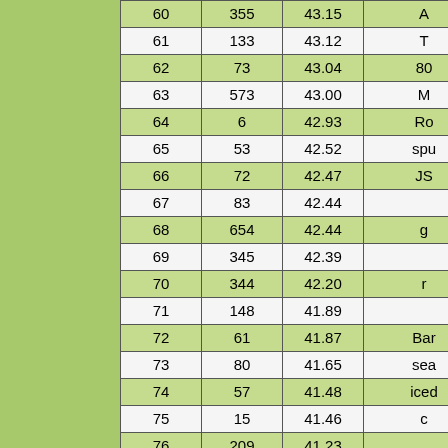|  |  |  |  |
| --- | --- | --- | --- |
| 60 | 355 | 43.15 | A |
| 61 | 133 | 43.12 | T |
| 62 | 73 | 43.04 | 80 |
| 63 | 573 | 43.00 | M |
| 64 | 6 | 42.93 | Ro |
| 65 | 53 | 42.52 | spu |
| 66 | 72 | 42.47 | JS |
| 67 | 83 | 42.44 |  |
| 68 | 654 | 42.44 | g |
| 69 | 345 | 42.39 |  |
| 70 | 344 | 42.20 | r |
| 71 | 148 | 41.89 |  |
| 72 | 61 | 41.87 | Bar |
| 73 | 80 | 41.65 | sea |
| 74 | 57 | 41.48 | iced |
| 75 | 15 | 41.46 | c |
| 76 | 209 | 41.23 |  |
| 77 | 71 | 41.21 | De |
| 78 | 538 | 41.04 | g |
| 79 | 346 | 40.92 |  |